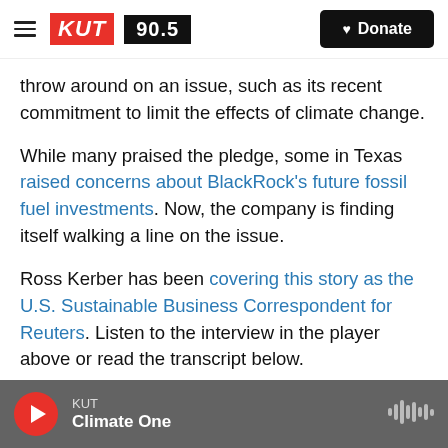KUT 90.5 | Donate
throw around on an issue, such as its recent commitment to limit the effects of climate change.
While many praised the pledge, some in Texas raised concerns about BlackRock's future fossil fuel investments. Now, the company is finding itself walking a line on the issue.
Ross Kerber has been covering this story as the U.S. Sustainable Business Correspondent for Reuters. Listen to the interview in the player above or read the transcript below.
This transcript has been edited lightly for clarity.
KUT | Climate One